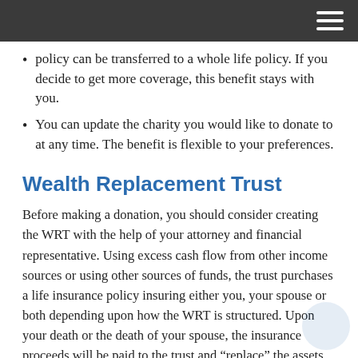policy can be transferred to a whole life policy. If you decide to get more coverage, this benefit stays with you.
You can update the charity you would like to donate to at any time. The benefit is flexible to your preferences.
Wealth Replacement Trust
Before making a donation, you should consider creating the WRT with the help of your attorney and financial representative. Using excess cash flow from other income sources or using other sources of funds, the trust purchases a life insurance policy insuring either you, your spouse or both depending upon how the WRT is structured. Upon your death or the death of your spouse, the insurance proceeds will be paid to the trust and “replace” the assets that went to charity. The trust will use the insurance proceeds for your